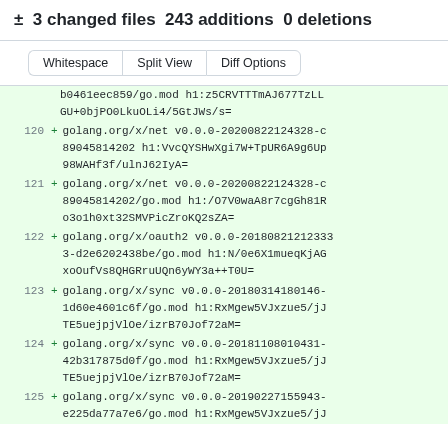± 3 changed files 243 additions 0 deletions
Whitespace | Split View | Diff Options
b0461eec859/go.mod h1:z5CRVTTTmAJ677TzLLGU+0bjPO0LkuOLi4/5GtJWs/s=
120 + golang.org/x/net v0.0.0-20200822124328-c89045814202 h1:VvcQYSHwXgi7W+TpUR6A9g6Up98WAHf3f/ulnJ62IyA=
121 + golang.org/x/net v0.0.0-20200822124328-c89045814202/go.mod h1:O7V0waA8r7cgGh81Ro3o1h0xt32SMVPicZroKQ2sZA=
122 + golang.org/x/oauth2 v0.0.0-20180821212333-d2e6202438be/go.mod h1:N/0e6X1mueqKjAGxoOufVs8QHGRruUQn6yWY3a++T0U=
123 + golang.org/x/sync v0.0.0-20180314180146-1d60e4601c6f/go.mod h1:RxMgew5VJxzue5/jJTE5uejpjVlOe/izrB70Jof72aM=
124 + golang.org/x/sync v0.0.0-20181108010431-42b317875d0f/go.mod h1:RxMgew5VJxzue5/jJTE5uejpjVlOe/izrB70Jof72aM=
125 + golang.org/x/sync v0.0.0-20190227155943-e225da77a7e6/go.mod h1:RxMgew5VJxzue5/jJ